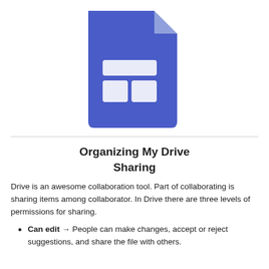[Figure (logo): Google Slides/Drive document icon — a blue file icon with a folded top-right corner and a spreadsheet table layout symbol in white on the front]
Organizing My Drive
Sharing
Drive is an awesome collaboration tool. Part of collaborating is sharing items among collaborator. In Drive there are three levels of permissions for sharing.
Can edit → People can make changes, accept or reject suggestions, and share the file with others.